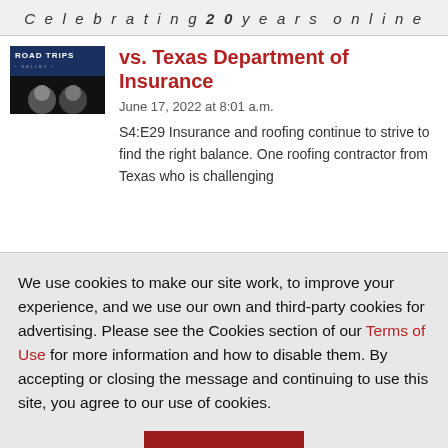Celebrating 20 years online
vs. Texas Department of Insurance
June 17, 2022 at 8:01 a.m.
S4:E29 Insurance and roofing continue to strive to find the right balance. One roofing contractor from Texas who is challenging
We use cookies to make our site work, to improve your experience, and we use our own and third-party cookies for advertising. Please see the Cookies section of our Terms of Use for more information and how to disable them. By accepting or closing the message and continuing to use this site, you agree to our use of cookies.